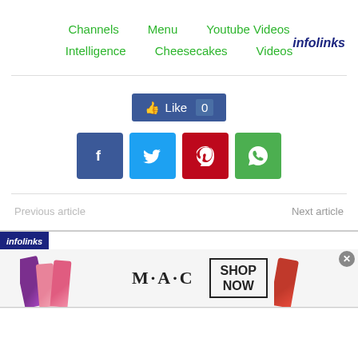Channels   Menu   Youtube Videos
Intelligence   Cheesecakes   Videos   infolinks
[Figure (screenshot): Facebook Like button showing 'Like 0']
[Figure (screenshot): Social share buttons: Facebook, Twitter, Pinterest, WhatsApp]
Previous article   Next article
[Figure (infographic): Infolinks advertisement banner for M·A·C cosmetics with Shop Now button and lipstick images]